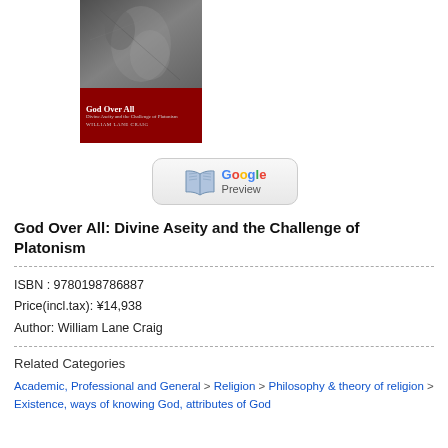[Figure (illustration): Book cover of 'God Over All: Divine Aseity and the Challenge of Platonism' by William Lane Craig. Top portion shows a dark engraving/illustration. Bottom portion is dark red with the title and author name in white text.]
[Figure (logo): Google Preview button with open book icon and Google-colored 'Google Preview' text, rounded rectangle button style.]
God Over All: Divine Aseity and the Challenge of Platonism
ISBN : 9780198786887
Price(incl.tax): ¥14,938
Author: William Lane Craig
Related Categories
Academic, Professional and General > Religion > Philosophy & theory of religion > Existence, ways of knowing God, attributes of God